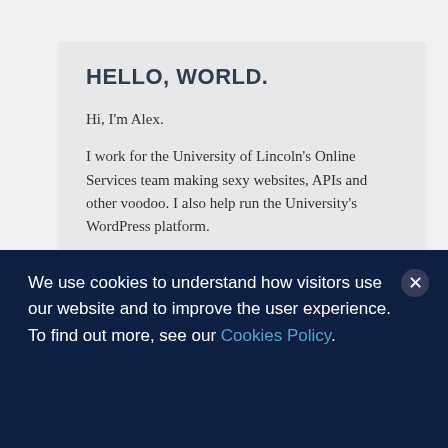HELLO, WORLD.
Hi, I'm Alex.
I work for the University of Lincoln's Online Services team making sexy websites, APIs and other voodoo. I also help run the University's WordPress platform.
Add me on Twitter @alexbilbie
We use cookies to understand how visitors use our website and to improve the user experience. To find out more, see our Cookies Policy.